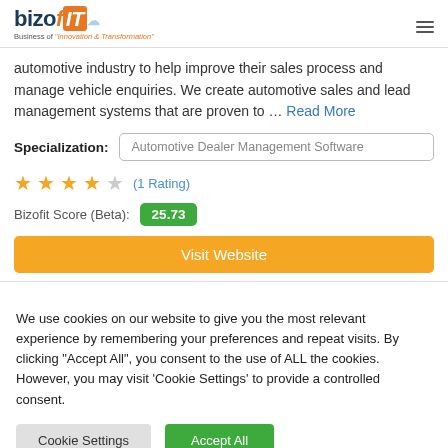bizofIT - Business of Innovation & Transformation
automotive industry to help improve their sales process and manage vehicle enquiries. We create automotive sales and lead management systems that are proven to … Read More
Specialization: Automotive Dealer Management Software
★★★★☆ (1 Rating)
Bizofit Score (Beta): 25.73
Visit Website
We use cookies on our website to give you the most relevant experience by remembering your preferences and repeat visits. By clicking "Accept All", you consent to the use of ALL the cookies. However, you may visit 'Cookie Settings' to provide a controlled consent.
Cookie Settings | Accept All